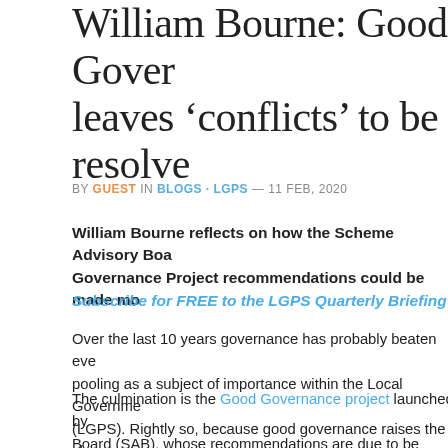William Bourne: Good Governance leaves 'conflicts' to be resolved
BY GUEST IN BLOGS · LGPS — 11 FEB, 2020
William Bourne reflects on how the Scheme Advisory Board's Good Governance Project recommendations could be made mo...
Subscribe for FREE to the LGPS Quarterly Briefing
Over the last 10 years governance has probably beaten even pooling as a subject of importance within the Local Government (LGPS). Rightly so, because good governance raises the chances of good decision making. Poor governance risks worse outcomes, higher costs and reputational damage.
The culmination is the Good Governance project launched by Board (SAB), whose recommendations are due to be translated into guidance in 2020.